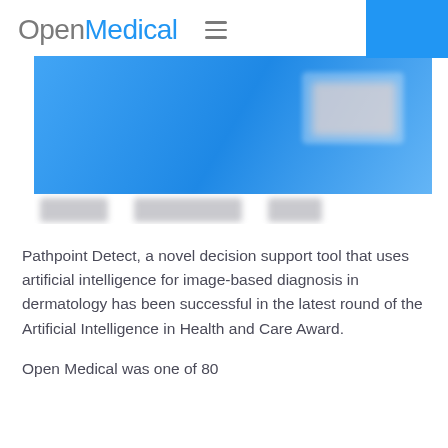OpenMedical
[Figure (screenshot): Screenshot of the OpenMedical web application showing a blue dashboard interface with a blurred card/image element, and blurred thumbnail navigation elements below]
Pathpoint Detect, a novel decision support tool that uses artificial intelligence for image-based diagnosis in dermatology has been successful in the latest round of the Artificial Intelligence in Health and Care Award.
Open Medical was one of 80